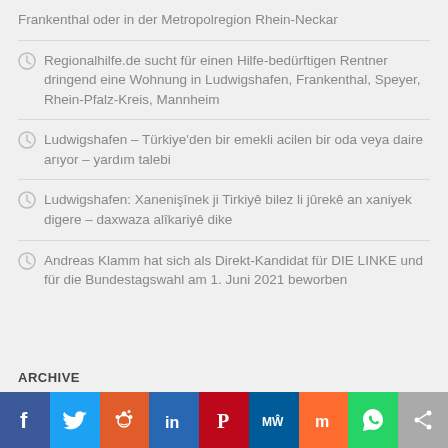Frankenthal oder in der Metropolregion Rhein-Neckar
Regionalhilfe.de sucht für einen Hilfe-bedürftigen Rentner dringend eine Wohnung in Ludwigshafen, Frankenthal, Speyer, Rhein-Pfalz-Kreis, Mannheim
Ludwigshafen – Türkiye'den bir emekli acilen bir oda veya daire arıyor – yardım talebi
Ludwigshafen: Xanenişînek ji Tirkiyê bilez li jûrekê an xaniyek digere – daxwaza alîkariyê dike
Andreas Klamm hat sich als Direkt-Kandidat für DIE LINKE und für die Bundestagswahl am 1. Juni 2021 beworben
ARCHIVE